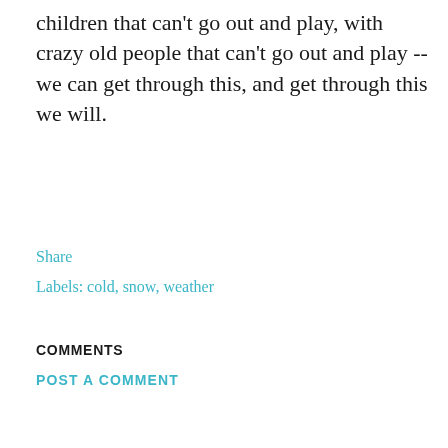children that can't go out and play, with crazy old people that can't go out and play -- we can get through this, and get through this we will.
Share
Labels: cold, snow, weather
COMMENTS
POST A COMMENT